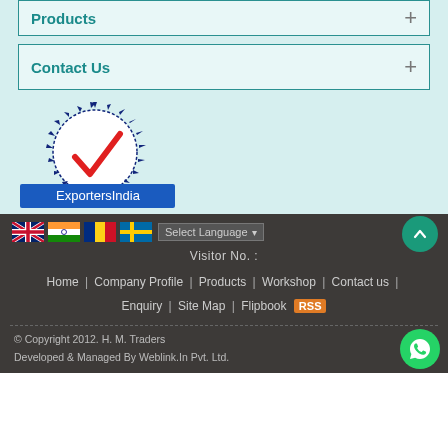Products
Contact Us
[Figure (logo): V-TRUST ExportersIndia verification badge with red checkmark and blue circular border]
Select Language
Visitor No. :
Home | Company Profile | Products | Workshop | Contact us | Enquiry | Site Map | Flipbook RSS
© Copyright 2012. H. M. Traders
Developed & Managed By Weblink.In Pvt. Ltd.